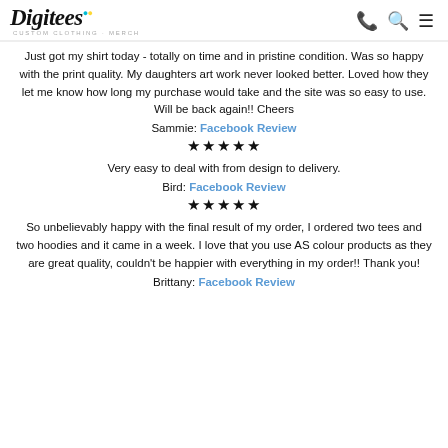Digitees Custom Clothing + Merch
Just got my shirt today - totally on time and in pristine condition. Was so happy with the print quality. My daughters art work never looked better. Loved how they let me know how long my purchase would take and the site was so easy to use. Will be back again!! Cheers
Sammie: Facebook Review
★★★★★
Very easy to deal with from design to delivery.
Bird: Facebook Review
★★★★★
So unbelievably happy with the final result of my order, I ordered two tees and two hoodies and it came in a week. I love that you use AS colour products as they are great quality, couldn't be happier with everything in my order!! Thank you!
Brittany: Facebook Review